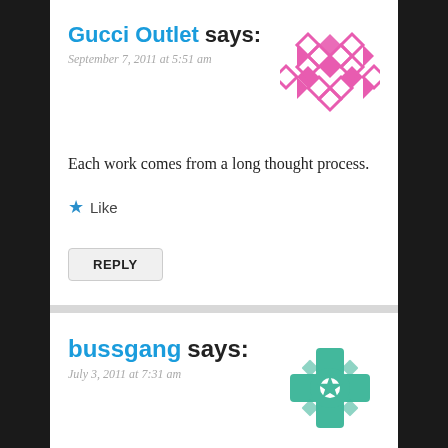Gucci Outlet says:
September 7, 2011 at 5:51 am
[Figure (illustration): Pink diamond/checker pattern decorative avatar icon]
Each work comes from a long thought process.
★ Like
REPLY
bussgang says:
July 3, 2011 at 7:31 am
[Figure (illustration): Teal geometric flower/cross decorative avatar icon]
TypePad HTML Email
It varies wildly based on the deal and the negotiating leverage. If you want more on this, read Chapter 4 of